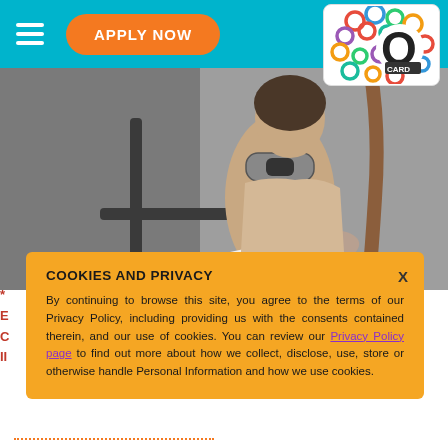APPLY NOW
[Figure (photo): Woman sitting in a folding chair wearing a neck massager device and reading a book]
[Figure (logo): Q Card logo with colorful rings pattern]
COOKIES AND PRIVACY
By continuing to browse this site, you agree to the terms of our Privacy Policy, including providing us with the consents contained therein, and our use of cookies. You can review our Privacy Policy page to find out more about how we collect, disclose, use, store or otherwise handle Personal Information and how we use cookies.